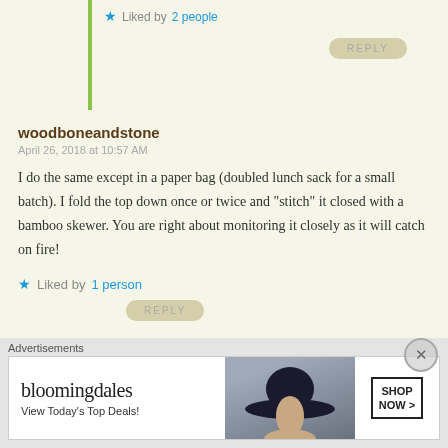Liked by 2 people
REPLY
woodboneandstone
April 26, 2018 at 10:57 AM
I do the same except in a paper bag (doubled lunch sack for a small batch). I fold the top down once or twice and "stitch" it closed with a bamboo skewer. You are right about monitoring it closely as it will catch on fire!
Liked by 1 person
REPLY
indianeskitchen
April 26, 2018 at 11:35 AM
That's why I like the glass bowl and plate. I wish I have...
[Figure (other): Bloomingdale's advertisement banner showing logo, 'View Today's Top Deals!' tagline, a woman with a wide-brim hat, and a 'SHOP NOW >' button]
Advertisements